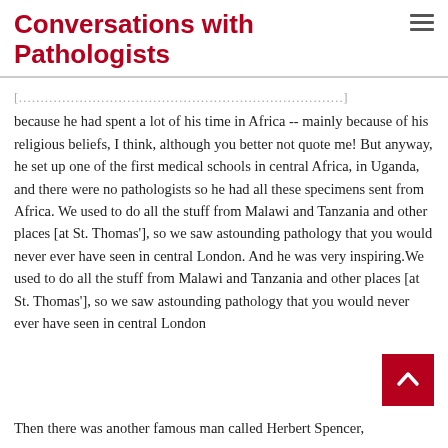Conversations with Pathologists
because he had spent a lot of his time in Africa -- mainly because of his religious beliefs, I think, although you better not quote me!  But anyway, he set up one of the first medical schools in central Africa, in Uganda, and there were no pathologists so he had all these specimens sent from Africa.  We used to do all the stuff from Malawi and Tanzania and other places [at St. Thomas'], so we saw astounding pathology that you would never ever have seen in central London.  And he was very inspiring.We used to do all the stuff from Malawi and Tanzania and other places [at St. Thomas'], so we saw astounding pathology that you would never ever have seen in central London
Then there was another famous man called Herbert Spencer,